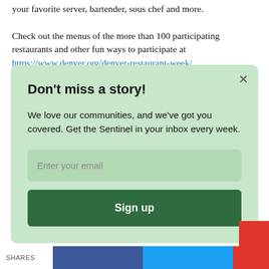your favorite server, bartender, sous chef and more. Check out the menus of the more than 100 participating restaurants and other fun ways to participate at https://www.denver.org/denver-restaurant-week/.
Don't miss a story!
We love our communities, and we've got you covered. Get the Sentinel in your inbox every week.
Enter your email
Sign up
SHARES